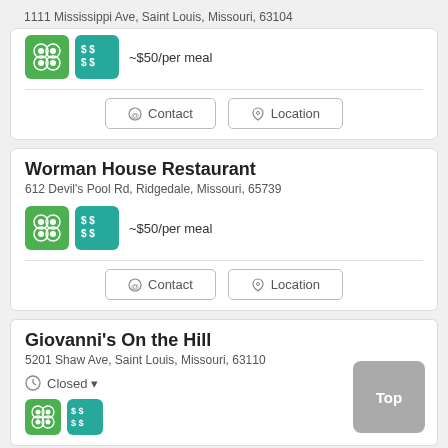1111 Mississippi Ave, Saint Louis, Missouri, 63104
[Figure (infographic): Green icon with circles and teal icon with $$ $$ symbols, followed by ~$50/per meal text]
~$50/per meal
Contact | Location buttons
Worman House Restaurant
612 Devil's Pool Rd, Ridgedale, Missouri, 65739
[Figure (infographic): Green icon with circles and teal icon with $$ $$ symbols, followed by ~$50/per meal text]
~$50/per meal
Contact | Location buttons
Giovanni's On the Hill
5201 Shaw Ave, Saint Louis, Missouri, 63110
Closed
Top